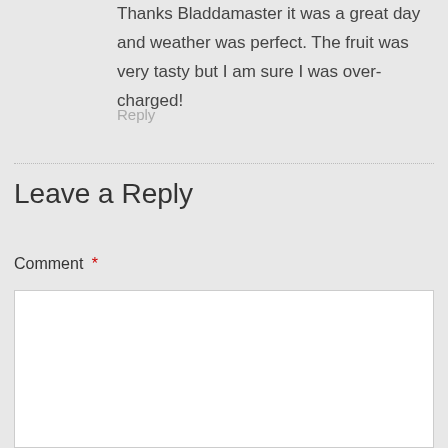Thanks Bladdamaster it was a great day and weather was perfect. The fruit was very tasty but I am sure I was over-charged!
Reply
Leave a Reply
Comment *